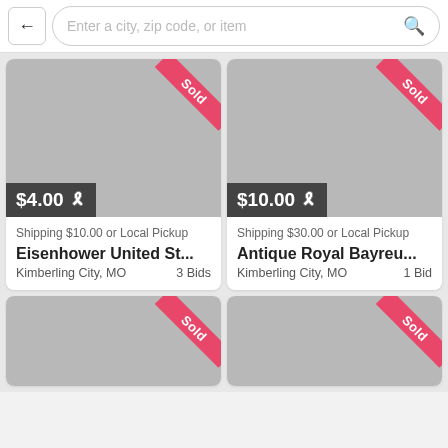[Figure (screenshot): Search bar with back arrow button and search input reading 'Enter a city, zip code, or item' with a magnifying glass icon]
[Figure (screenshot): Auction listing card: gray image with Sold ribbon, price $4.00 with hammer icon, Shipping $10.00 or Local Pickup, title Eisenhower United St..., Kimberling City MO, 3 Bids]
[Figure (screenshot): Auction listing card: gray image with Sold ribbon, price $10.00 with hammer icon, Shipping $30.00 or Local Pickup, title Antique Royal Bayreu..., Kimberling City MO, 1 Bid]
[Figure (screenshot): Partial auction listing card at bottom left: gray image with Sold ribbon, partially visible]
[Figure (screenshot): Partial auction listing card at bottom right: gray image with Sold ribbon, partially visible]